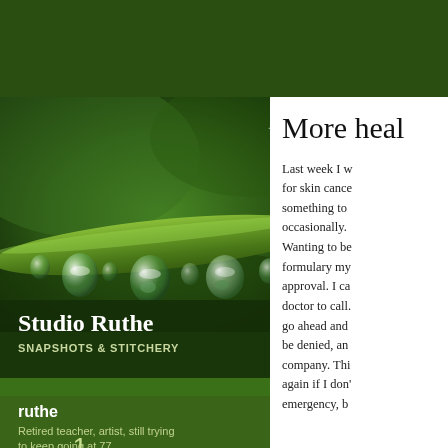[Figure (photo): Close-up macro photo of green plant stem with water droplets/dew drops hanging from it, against a blurred green background.]
Studio Ruthe
SNAPSHOTS & STITCHERY
[Figure (illustration): Avatar/profile placeholder box with white border on green background]
ruthe
Retired teacher, artist, still trying to keep going at 77.
1
FOLLOWING
0
FOLLOWERS
More heal
Last week I w... for skin cance... something to ... occasionally. Wanting to be... formulary my ... approval. I ca... doctor to call. ... go ahead and... be denied, ar... company. Thi... again if I don'... emergency, b...